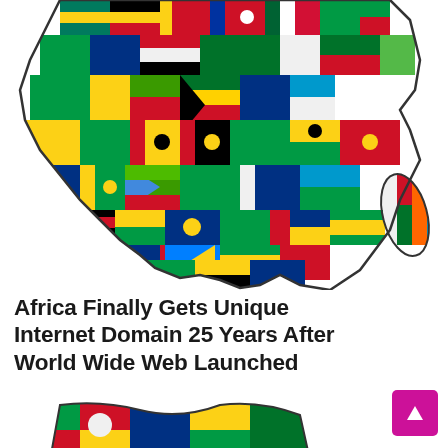[Figure (illustration): Map of Africa filled with national flags of African countries]
Africa Finally Gets Unique Internet Domain 25 Years After World Wide Web Launched
[Figure (illustration): Partial view of bottom portion of Africa map with flags, cropped at bottom of page]